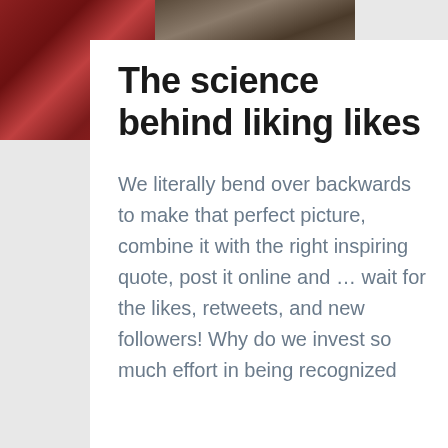[Figure (photo): Two photos visible at top of page: left photo shows a person in red/dark clothing, right photo shows a person standing outdoors in neutral tones]
The science behind liking likes
We literally bend over backwards to make that perfect picture, combine it with the right inspiring quote, post it online and … wait for the likes, retweets, and new followers! Why do we invest so much effort in being recognized